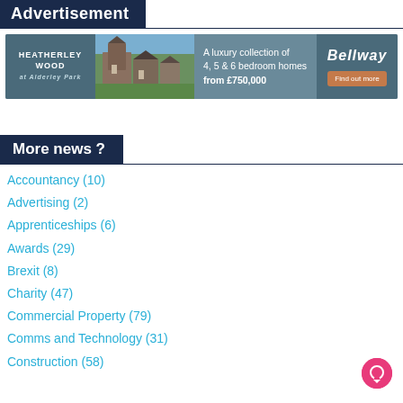Advertisement
[Figure (infographic): Bellway advertisement banner for Heatherley Wood at Alderley Park. Shows luxury homes photo, text 'A luxury collection of 4, 5 & 6 bedroom homes from £750,000', Bellway logo, and 'Find out more' button.]
More news ?
Accountancy (10)
Advertising (2)
Apprenticeships (6)
Awards (29)
Brexit (8)
Charity (47)
Commercial Property (79)
Comms and Technology (31)
Construction (58)